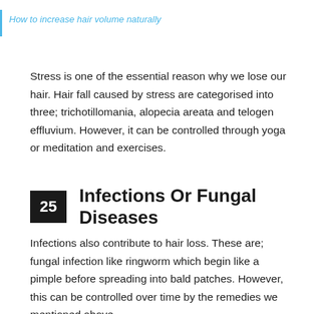How to increase hair volume naturally
Stress is one of the essential reason why we lose our hair. Hair fall caused by stress are categorised into three; trichotillomania, alopecia areata and telogen effluvium. However, it can be controlled through yoga or meditation and exercises.
25  Infections Or Fungal Diseases
Infections also contribute to hair loss. These are; fungal infection like ringworm which begin like a pimple before spreading into bald patches. However, this can be controlled over time by the remedies we mentioned above.